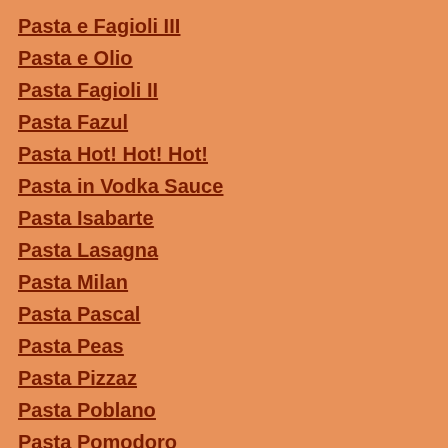Pasta e Fagioli III
Pasta e Olio
Pasta Fagioli II
Pasta Fazul
Pasta Hot! Hot! Hot!
Pasta in Vodka Sauce
Pasta Isabarte
Pasta Lasagna
Pasta Milan
Pasta Pascal
Pasta Peas
Pasta Pizzaz
Pasta Poblano
Pasta Pomodoro